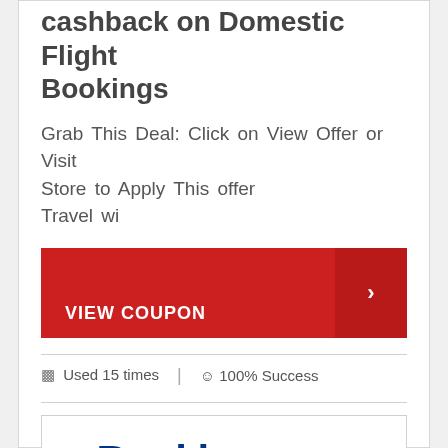Cashback on Domestic Flight Bookings
Grab This Deal: Click on View Offer or Visit Store to Apply This offer
Travel wi
[Figure (other): Red VIEW COUPON button with arrow on right]
Used 15 times  |  100% Success
[Figure (logo): Booking.com logo in blue]